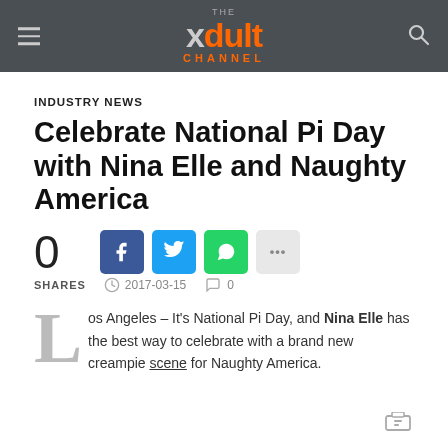THE xdult CHANNEL
INDUSTRY NEWS
Celebrate National Pi Day with Nina Elle and Naughty America
0 SHARES  2017-03-15  0
Los Angeles – It's National Pi Day, and Nina Elle has the best way to celebrate with a brand new creampie scene for Naughty America.